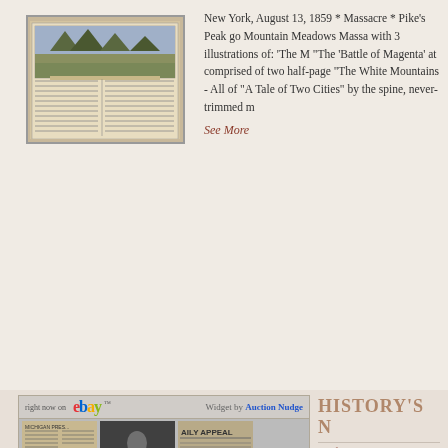[Figure (photo): Antique newspaper page with illustration showing a landscape scene]
New York, August 13, 1859 * Massacre * Pike's Peak go Mountain Meadows Massa with 3 illustrations of: 'The "The 'Battle of Magenta' at comprised of two half-page "The White Mountains - All of 'A Tale of Two Cities' by the spine, never-trimmed m
See More
[Figure (screenshot): eBay widget showing 'right now on eBay' with logo and 'Widget by Auction Nudge' text]
[Figure (photo): Thumbnail of antique newspaper with text columns]
[Figure (photo): Thumbnail portrait photograph of a person standing]
[Figure (photo): Thumbnail of newspaper with 'AILY APPEAL' visible]
HISTORY'S N
If Only They Co Tackles the Par
The course ma Ronald Reaga